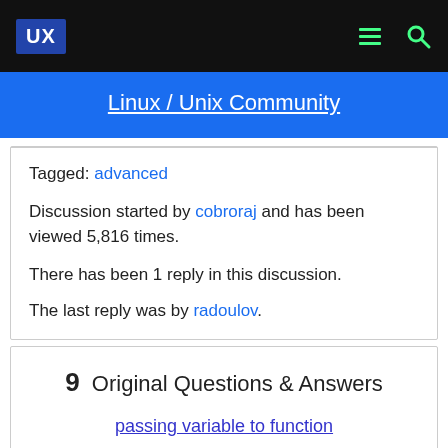UX  [menu icon]  [search icon]
Linux / Unix Community
Tagged: advanced
Discussion started by cobroraj and has been viewed 5,816 times.
There has been 1 reply in this discussion.
The last reply was by radoulov.
9  Original Questions & Answers
passing variable to function